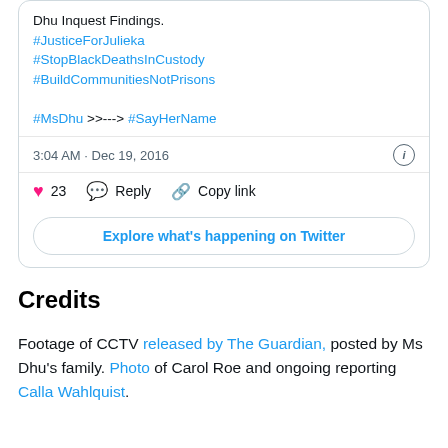[Figure (screenshot): Bottom portion of a tweet card showing hashtags (#JusticeForJulieka, #StopBlackDeathsInCustody, #BuildCommunitiesNotPrisons, #MsDhu >>---> #SayHerName), timestamp (3:04 AM · Dec 19, 2016), action bar (23 likes, Reply, Copy link), and Explore button.]
Credits
Footage of CCTV released by The Guardian, posted by Ms Dhu's family. Photo of Carol Roe and ongoing reporting Calla Wahlquist.